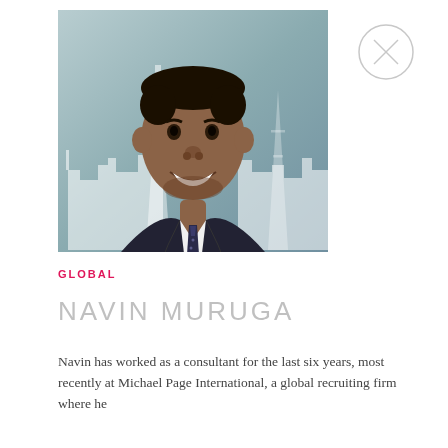[Figure (photo): Headshot photograph of a young man in a dark suit and tie, smiling, with a city skyline silhouette background in teal/grey tones]
GLOBAL
NAVIN MURUGA
Navin has worked as a consultant for the last six years, most recently at Michael Page International, a global recruiting firm where he